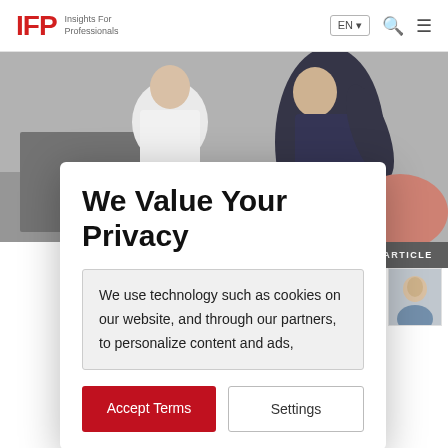IFP Insights For Professionals | EN | Search | Menu
[Figure (photo): Background photo of people in a professional office setting, partially obscured by modal overlay]
We Value Your Privacy
We use technology such as cookies on our website, and through our partners, to personalize content and ads,
Accept Terms | Settings